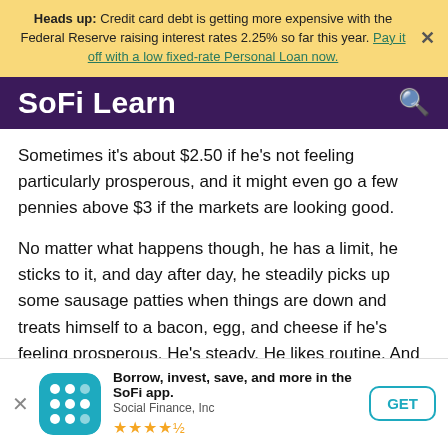Heads up: Credit card debt is getting more expensive with the Federal Reserve raising interest rates 2.25% so far this year. Pay it off with a low fixed-rate Personal Loan now.
SoFi Learn
Sometimes it's about $2.50 if he's not feeling particularly prosperous, and it might even go a few pennies above $3 if the markets are looking good.
No matter what happens though, he has a limit, he sticks to it, and day after day, he steadily picks up some sausage patties when things are down and treats himself to a bacon, egg, and cheese if he's feeling prosperous. He's steady. He likes routine. And his approaches to investing reflect it. He's the Oracle of Omaha.
That man is, of course, Warren Buffett, chairman, and CEO
Borrow, invest, save, and more in the SoFi app. Social Finance, Inc ★★★★½ GET